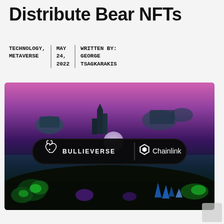Distribute Bear NFTs
TECHNOLOGY, METAVERSE | MAY 24, 2022 | WRITTEN BY: GEORGE TSAGKARAKIS
[Figure (photo): Metaverse landscape with purple/pink sky, floating islands, and neon glowing vegetation. A dark pill-shaped banner in the center shows the BULLIEVERSE and Chainlink logos.]